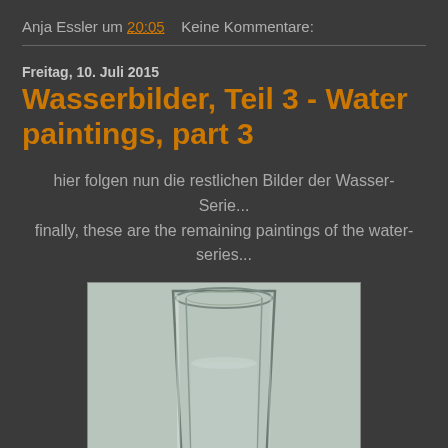Anja Essler um 20:05   Keine Kommentare:
Freitag, 10. Juli 2015
Wasserbilder, Teil 3 - Water paintings, part 3
hier folgen nun die restlichen Bilder der Wasser-Serie... finally, these are the remaining paintings of the water-series...
[Figure (photo): A painting of a glass of water, partially filled, on a light grey background. The glass is a tall cylindrical shape rendered in realistic detail with grey tones.]